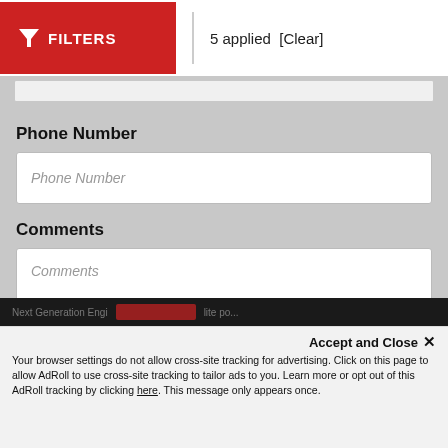[Figure (screenshot): Red FILTERS button with funnel icon, showing '5 applied [Clear]' text]
Phone Number
Phone Number (input field placeholder)
Comments
Comments (textarea placeholder)
SEND (button)
Next Generation Engi... ...lite po...
Accept and Close ×
Your browser settings do not allow cross-site tracking for advertising. Click on this page to allow AdRoll to use cross-site tracking to tailor ads to you. Learn more or opt out of this AdRoll tracking by clicking here. This message only appears once.